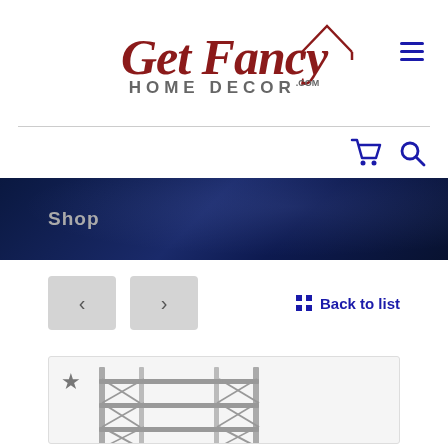[Figure (logo): Get Fancy Home Decor logo with cursive red text and house outline, plus hamburger menu icon in navy blue]
[Figure (infographic): Navigation icons: blue shopping cart and blue magnifying glass search icon]
Shop
< > navigation buttons and Back to list link
[Figure (photo): Product photo of a metal shelving unit/rack with multiple shelves, gray steel construction]